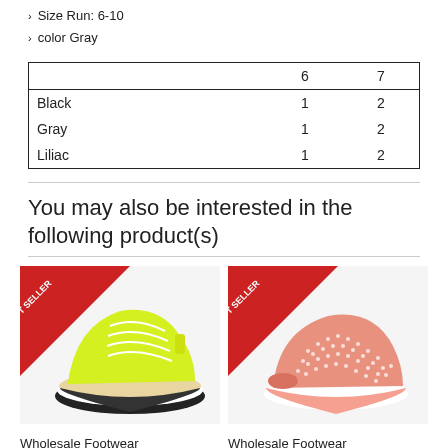Size Run: 6-10
color Gray
|  | 6 | 7 |
| --- | --- | --- |
| Black | 1 | 2 |
| Gray | 1 | 2 |
| Liliac | 1 | 2 |
You may also be interested in the following product(s)
[Figure (photo): Yellow platform sneaker with white laces and white chunky sole, with HOT SELLER ribbon badge]
[Figure (photo): Pink slip-on sneaker with rhinestone/crystal embellishments and white sole, with HOT SELLER ribbon badge]
Wholesale Footwear Women's Sneaker Yell...
Wholesale Footwear Women's Sneaker S...